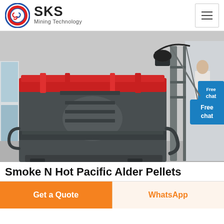[Figure (logo): SKS Mining Technology logo with red and blue circular emblem and brand name]
[Figure (photo): Large industrial mining mill machine shown close-up, dark grey cylindrical body with red top ring clamps, ladder-like access panels, and mechanical arm, photographed indoors in a factory/warehouse setting with a person in white shirt visible at right side]
Smoke N Hot Pacific Alder Pellets
Get a Quote
WhatsApp